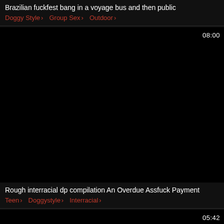Brazilian fuckfest bang in a voyage bus and then public
Doggy Style > Group Sex > Outdoor >
[Figure (photo): Black video thumbnail with duration 08:00 in top right]
Rough interracial dp compilation An Overdue Assfuck Payment
Teen > Doggystyle > Interracial >
[Figure (photo): Black video thumbnail with duration 05:42 in top right]